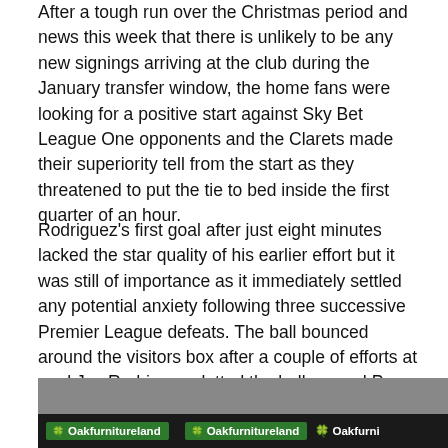After a tough run over the Christmas period and news this week that there is unlikely to be any new signings arriving at the club during the January transfer window, the home fans were looking for a positive start against Sky Bet League One opponents and the Clarets made their superiority tell from the start as they threatened to put the tie to bed inside the first quarter of an hour.
Rodriguez's first goal after just eight minutes lacked the star quality of his earlier effort but it was still of importance as it immediately settled any potential anxiety following three successive Premier League defeats. The ball bounced around the visitors box after a couple of efforts at goal Jay Rodriguez slotted the ball passed Pym to make it 1-0.
[Figure (photo): A photograph showing advertising hoardings/pitchside boards with 'Oakfurnitureland' branding repeated multiple times on a green background with white text and a shamrock/leaf logo.]